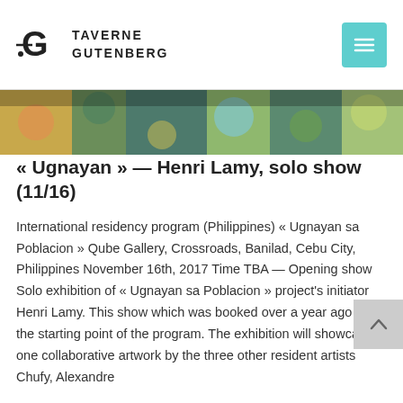TAVERNE GUTENBERG
[Figure (photo): Colorful artwork photo strip showing mixed media pieces with foliage and abstract patterns]
« Ugnayan » — Henri Lamy, solo show (11/16)
International residency program (Philippines) « Ugnayan sa Poblacion » Qube Gallery, Crossroads, Banilad, Cebu City, Philippines November 16th, 2017 Time TBA — Opening show Solo exhibition of « Ugnayan sa Poblacion » project's initiator Henri Lamy. This show which was booked over a year ago was the starting point of the program. The exhibition will showcase one collaborative artwork by the three other resident artists Chufy, Alexandre
Lire plus